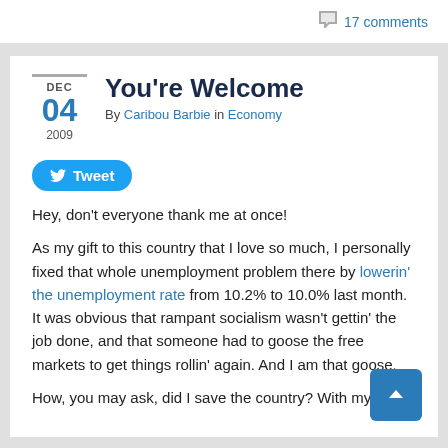17 comments
You're Welcome
By Caribou Barbie in Economy
[Figure (other): Tweet button with Twitter bird icon]
Hey, don't everyone thank me at once!
As my gift to this country that I love so much, I personally fixed that whole unemployment problem there by lowerin' the unemployment rate from 10.2% to 10.0% last month.  It was obvious that rampant socialism wasn't gettin' the job done, and that someone had to goose the free markets to get things rollin' again.  And I am that goose.
How, you may ask, did I save the country?  With my